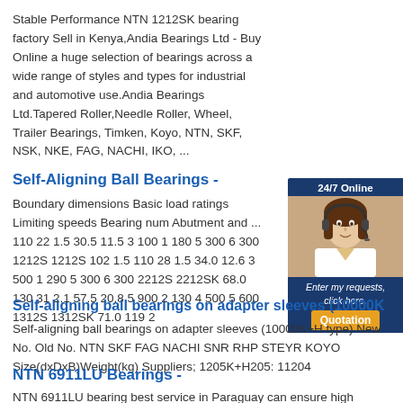Stable Performance NTN 1212SK bearing factory Sell in Kenya,Andia Bearings Ltd - Buy Online a huge selection of bearings across a wide range of styles and types for industrial and automotive use.Andia Bearings Ltd.Tapered Roller,Needle Roller, Wheel, Trailer Bearings, Timken, Koyo, NTN, SKF, NSK, NKE, FAG, NACHI, IKO, ...
Self-Aligning Ball Bearings -
Boundary dimensions Basic load ratings Limiting speeds Bearing num Abutment and ... 110 22 1.5 30.5 11.5 3 100 1 180 5 300 6 300 1212S 1212S 102 1.5 110 28 1.5 34.0 12.6 3 500 1 290 5 300 6 300 2212S 2212SK 68.0 130 31 2.1 57.5 20.8 5 900 2 130 4 500 5 600 1312S 1312SK 71.0 119 2
[Figure (photo): Sidebar with woman wearing headset and 24/7 Online customer service chat widget]
Self-aligning ball bearings on adapter sleeves (10000K
Self-aligning ball bearings on adapter sleeves (10000K+H type) New No. Old No. NTN SKF FAG NACHI SNR RHP STEYR KOYO Size(dxDxB)Weight(kg) Suppliers; 1205K+H205: 11204
NTN 6911LU Bearings -
NTN 6911LU bearing best service in Paraguay can ensure high quality for more than 80% raw material of NTN 6911LU bearing best service in Paraguay provided by the steel plant. Explorer series bearings of NTN 6911LU bearing best service in Paraguay have more advantages ,such as higher meet rated , lower noise, reducing warranty costs greatly.